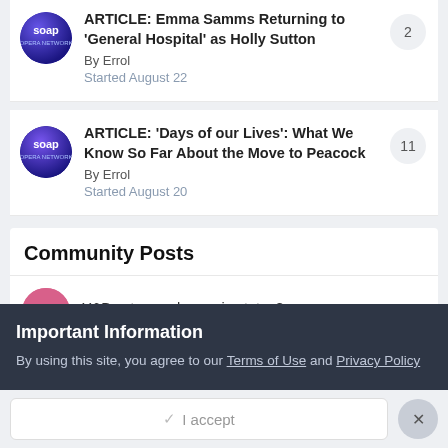ARTICLE: Emma Samms Returning to 'General Hospital' as Holly Sutton
By Errol
Started August 22
ARTICLE: 'Days of our Lives': What We Know So Far About the Move to Peacock
By Errol
Started August 20
Community Posts
Y&B actress, change in status?
Important Information
By using this site, you agree to our Terms of Use and Privacy Policy